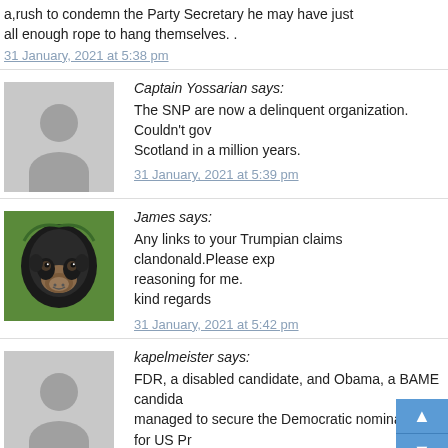a,rush to condemn the Party Secretary he may have just all enough rope to hang themselves. .
31 January, 2021 at 5:38 pm
Captain Yossarian says: The SNP are now a delinquent organization. Couldn't gov Scotland in a million years.
31 January, 2021 at 5:39 pm
James says: Any links to your Trumpian claims clandonald.Please exp reasoning for me. kind regards
31 January, 2021 at 5:42 pm
kapelmeister says: FDR, a disabled candidate, and Obama, a BAME candida managed to secure the Democratic nomination for US Pr without Kirsten Oswald's help.
31 January, 2021 at 5:42 pm